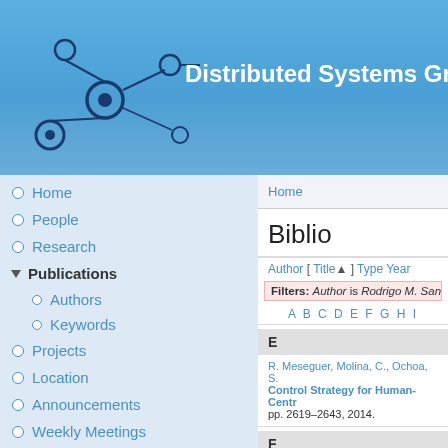Distributed Systems Gr
Home
People
Research
Publications
Authors
Keywords
Projects
Location
Announcements
Weekly Meetings
Software
Home
Biblio
Author [ Title▲ ] Type Year
Filters: Author is Rodrigo M. Santos
A B C D E F G H I
E
R. Meseguer, Molina, C., Ochoa, S. Control Strategy for Human-Cent pp. 2619–2643, 2014.
F
R. M. Santos, Orozco, J., Mossé, D. «Elas... Real-Time Network f...